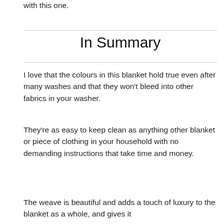with this one.
In Summary
I love that the colours in this blanket hold true even after many washes and that they won't bleed into other fabrics in your washer.
They're as easy to keep clean as anything other blanket or piece of clothing in your household with no demanding instructions that take time and money.
The weave is beautiful and adds a touch of luxury to the blanket as a whole, and gives it